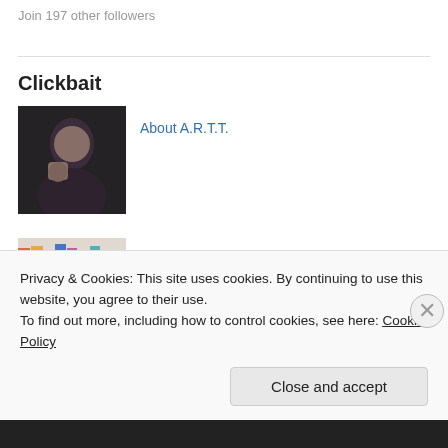Join 197 other followers
Clickbait
[Figure (photo): Person holding an object, dark background]
About A.R.T.T.
[Figure (photo): Colorful markers/books on shelves]
Bringing Markers Back From the Dead --- Mouthwash Edition.
Privacy & Cookies: This site uses cookies. By continuing to use this website, you agree to their use.
To find out more, including how to control cookies, see here: Cookie Policy
Close and accept